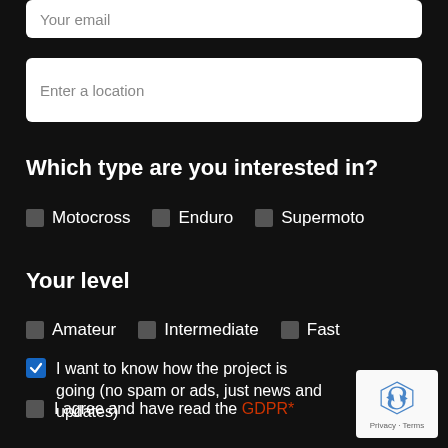Your email
Enter a location
Which type are you interested in?
Motocross
Enduro
Supermoto
Your level
Amateur
Intermediate
Fast
I want to know how the project is going (no spam or ads, just news and updates)
I agree and have read the GDPR*